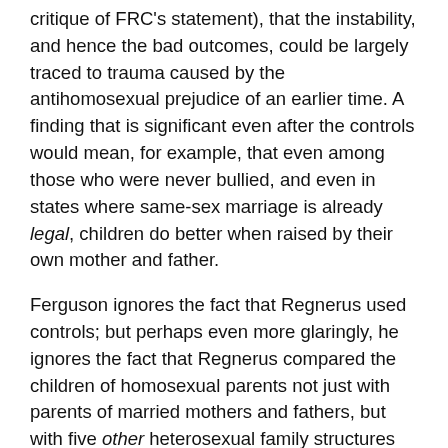critique of FRC's statement), that the instability, and hence the bad outcomes, could be largely traced to trauma caused by the antihomosexual prejudice of an earlier time. A finding that is significant even after the controls would mean, for example, that even among those who were never bullied, and even in states where same-sex marriage is already legal, children do better when raised by their own mother and father.
Ferguson ignores the fact that Regnerus used controls; but perhaps even more glaringly, he ignores the fact that Regnerus compared the children of homosexual parents not just with parents of married mothers and fathers, but with five other heterosexual family structures as wellchildren adopted by strangers, children whose parents divorced late (that is, after they turned 18), children who lived in step-families, and children of single parents. This part of the study has not gotten as much attention (and it will be the focus of my next FRC Issue Brief on the Regnerus study).
On these comparisons, Regnerus reports that children of lesbian mothers display 57 [differences] that are [statistically significant] ... . The majority of these